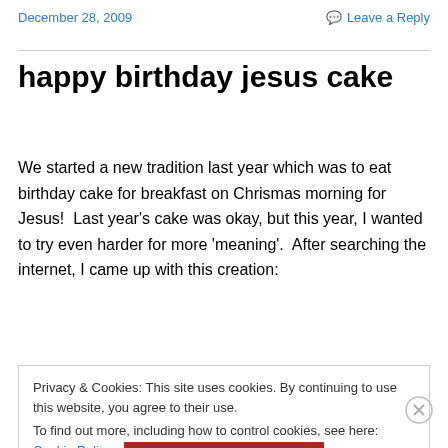December 28, 2009    Leave a Reply
happy birthday jesus cake
We started a new tradition last year which was to eat birthday cake for breakfast on Chrismas morning for Jesus!  Last year's cake was okay, but this year, I wanted to try even harder for more 'meaning'.  After searching the internet, I came up with this creation:
Privacy & Cookies: This site uses cookies. By continuing to use this website, you agree to their use.
To find out more, including how to control cookies, see here: Cookie Policy
Close and accept